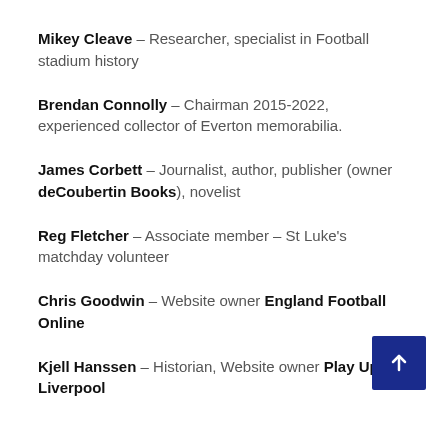Mikey Cleave – Researcher, specialist in Football stadium history
Brendan Connolly – Chairman 2015-2022, experienced collector of Everton memorabilia.
James Corbett – Journalist, author, publisher (owner deCoubertin Books), novelist
Reg Fletcher – Associate member – St Luke's matchday volunteer
Chris Goodwin – Website owner England Football Online
Kjell Hanssen – Historian, Website owner Play Up, Liverpool